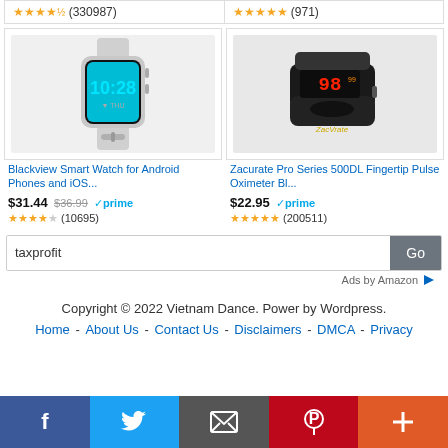(330987) | (971) - top ratings row
[Figure (photo): Blackview Smart Watch product photo - white/grey smartwatch showing 10:28 THU on display]
Blackview Smart Watch for Android Phones and iOS...
$31.44  $36.99  prime  (10695)
[Figure (photo): Zacurate Pro Series 500DL Fingertip Pulse Oximeter product photo - black device with red LED display showing 98]
Zacurate Pro Series 500DL Fingertip Pulse Oximeter Bl...
$22.95  prime  (200511)
taxprofit — search input with Go button
Ads by Amazon
Copyright © 2022 Vietnam Dance. Power by Wordpress.
Home - About Us - Contact Us - Disclaimers - DMCA - Privacy
[Figure (infographic): Social share bar with Facebook, Twitter, Email, Pinterest, and More buttons]